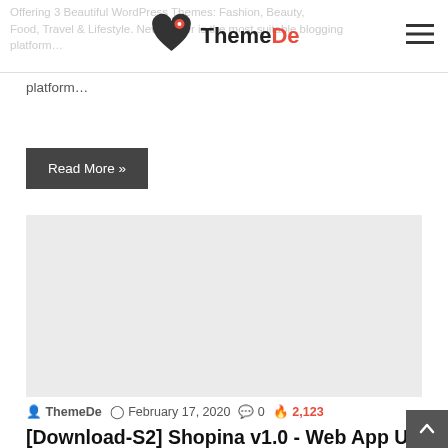ThemeDe — Offering 3 Beautiful WordPress Themes: Fashion, Beauty, Food, Travel & Lifestyle. Newspaper is the most suitable blogging platform…
Offering 3 Beautiful WordPress Themes: Fashion, Beauty, Food, Travel & Lifestyle. Newspaper is the most suitable blogging platform…
Read More »
[Figure (photo): Grey placeholder image rectangle]
ThemeDe  February 17, 2020  0  2,123
[Download-S2] Shopina v1.0 - Web App UI Kit eCommerce Mobile Template